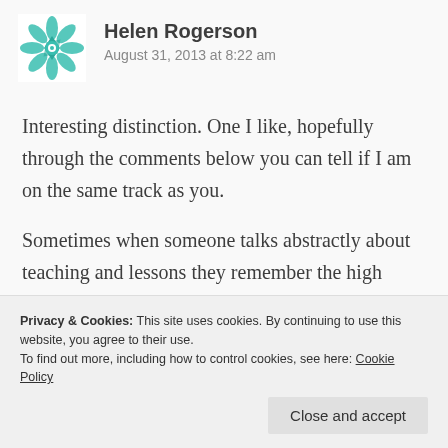[Figure (illustration): Teal geometric quilt-pattern avatar icon for Helen Rogerson]
Helen Rogerson
August 31, 2013 at 8:22 am
Interesting distinction. One I like, hopefully through the comments below you can tell if I am on the same track as you.
Sometimes when someone talks abstractly about teaching and lessons they remember the high energy lessons with laughing children and think that is what they are trying to attain each lesson in
Privacy & Cookies: This site uses cookies. By continuing to use this website, you agree to their use.
To find out more, including how to control cookies, see here: Cookie Policy
Close and accept
agree. The lesson he observed lesson (on drugs in